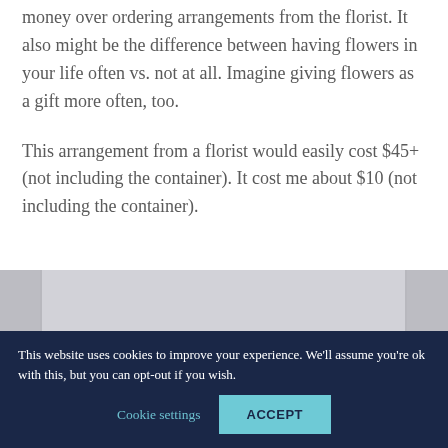money over ordering arrangements from the florist. It also might be the difference between having flowers in your life often vs. not at all. Imagine giving flowers as a gift more often, too.
This arrangement from a florist would easily cost $45+ (not including the container). It cost me about $10 (not including the container).
[Figure (photo): Partial view of a floral arrangement photo, cropped at bottom of visible area]
This website uses cookies to improve your experience. We'll assume you're ok with this, but you can opt-out if you wish.
Cookie settings
ACCEPT